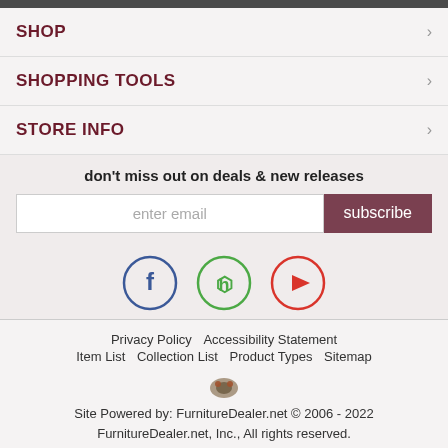SHOP
SHOPPING TOOLS
STORE INFO
don't miss out on deals & new releases
enter email | subscribe
[Figure (illustration): Social media icons: Facebook (blue circle with f), Houzz (green circle with h logo), YouTube (red circle with play button)]
Privacy Policy   Accessibility Statement   Item List   Collection List   Product Types   Sitemap   Site Powered by: FurnitureDealer.net © 2006 - 2022 FurnitureDealer.net, Inc., All rights reserved.